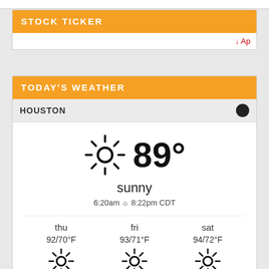STOCK TICKER
↓ Ap
TODAY'S WEATHER
HOUSTON
[Figure (infographic): Weather widget showing Houston weather: sunny, 89°, sunrise 6:20am, sunset 8:22pm CDT. Forecast: thu 92/70°F sunny, fri 93/71°F sunny, sat 94/72°F sunny.]
Weather forecast Houston, Texas ▶